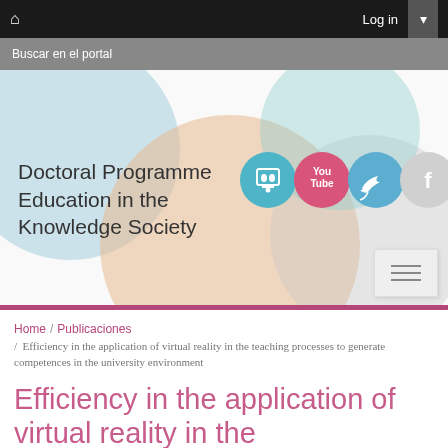🏠   Log in   ▾
Buscar en el portal
[Figure (screenshot): University portal header with decorative overlapping circles (light blue, peach/orange, grey) and four social media icons: Slideshare, YouTube, Twitter, Facebook]
Doctoral Programme Education in the Knowledge Society
Home / Publicaciones / Efficiency in the application of virtual reality in the teaching processes to generate competences in the university environment
Efficiency in the application of virtual reality in the